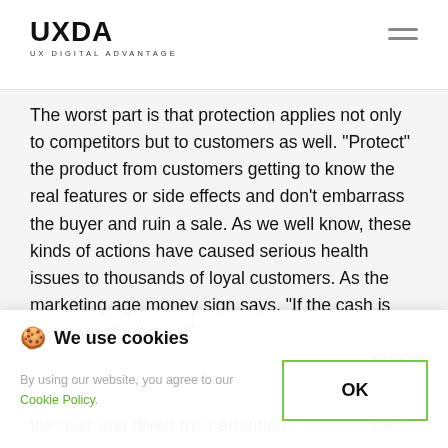UXDA UX DIGITAL ADVANTAGE
The worst part is that protection applies not only to competitors but to customers as well. “Protect” the product from customers getting to know the real features or side effects and don't embarrass the buyer and ruin a sale. As we well know, these kinds of actions have caused serious health issues to thousands of loyal customers. As the marketing age money sign says, "If the cash is there, we don't care."
[Figure (screenshot): Cookie consent popup with cookie icon, 'We use cookies' heading, body text referencing Cookie Policy link, and an OK button with green border]
the user and divert their attention.